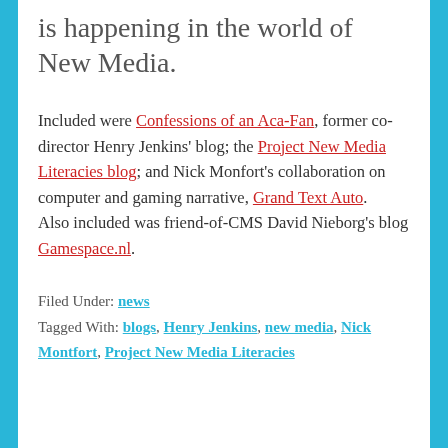is happening in the world of New Media.
Included were Confessions of an Aca-Fan, former co-director Henry Jenkins' blog; the Project New Media Literacies blog; and Nick Monfort's collaboration on computer and gaming narrative, Grand Text Auto. Also included was friend-of-CMS David Nieborg's blog Gamespace.nl.
Filed Under: news
Tagged With: blogs, Henry Jenkins, new media, Nick Montfort, Project New Media Literacies